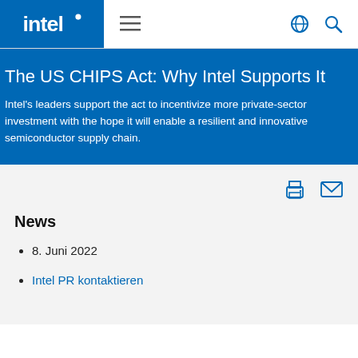intel (logo) — hamburger menu — globe icon — search icon
The US CHIPS Act: Why Intel Supports It
Intel's leaders support the act to incentivize more private-sector investment with the hope it will enable a resilient and innovative semiconductor supply chain.
News
8. Juni 2022
Intel PR kontaktieren